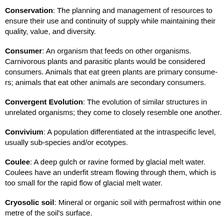Conservation: The planning and management of resources to ensure their use and continuity of supply while maintaining their quality, value, and diversity.
Consumer: An organism that feeds on other organisms. Carnivorous plants and parasitic plants would be considered consumers. Animals that eat green plants are primary consumers; animals that eat other animals are secondary consumers.
Convergent Evolution: The evolution of similar structures in unrelated organisms; they come to closely resemble one another.
Convivium: A population differentiated at the intraspecific level, usually sub-species and/or ecotypes.
Coulee: A deep gulch or ravine formed by glacial melt water. Coulees have an underfit stream flowing through them, which is too small for the rapid flow of glacial melt water.
Cryosolic soil: Mineral or organic soil with permafrost within one metre of the soil's surface.
Deciduous Forest: In the Northern...